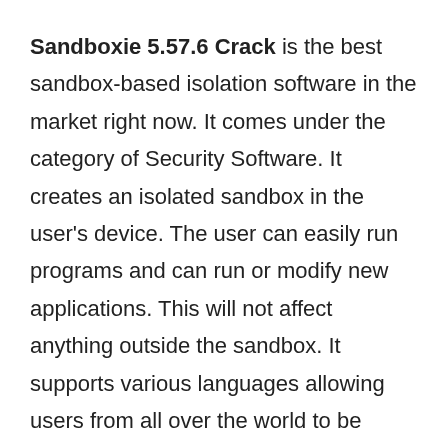Sandboxie 5.57.6 Crack is the best sandbox-based isolation software in the market right now. It comes under the category of Security Software. It creates an isolated sandbox in the user's device. The user can easily run programs and can run or modify new applications. This will not affect anything outside the sandbox. It supports various languages allowing users from all over the world to be benefited from it. This tool will help contain malware or spyware inside the sandbox to protect the user's personal data so that it may not be stolen. It prevents installed apps from not permanently inflicting any changes to the rest of the computer.
Sandboxie Crack also protects against web threats. If